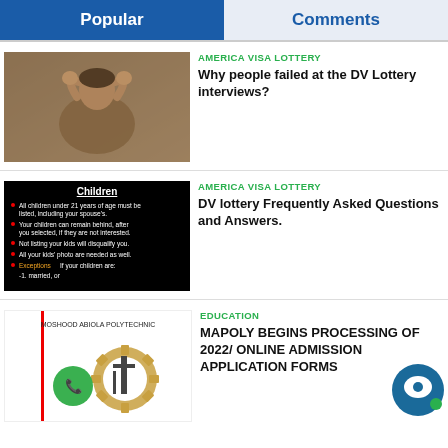Popular | Comments
[Figure (photo): Person holding head in distress, hands gripping hair]
AMERICA VISA LOTTERY
Why people failed at the DV Lottery interviews?
[Figure (infographic): Black background infographic about Children DV lottery rules listing requirements]
AMERICA VISA LOTTERY
DV lottery Frequently Asked Questions and Answers.
[Figure (photo): Moshood Abiola Polytechnic logo with gear and tower illustration]
EDUCATION
MAPOLY BEGINS PROCESSING OF 2022/ ONLINE ADMISSION APPLICATION FORMS